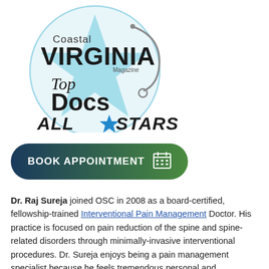[Figure (logo): Coastal Virginia Magazine Top Docs All Stars logo — circular badge with light blue background, large blue star, stethoscope silhouette, and bold black text reading 'Coastal VIRGINIA Magazine Top Docs ALL STARS']
[Figure (other): Green and dark blue gradient rounded rectangular button reading 'BOOK APPOINTMENT' with a calendar icon on the right]
Dr. Raj Sureja joined OSC in 2008 as a board-certified, fellowship-trained Interventional Pain Management Doctor. His practice is focused on pain reduction of the spine and spine-related disorders through minimally-invasive interventional procedures. Dr. Sureja enjoys being a pain management specialist because he feels tremendous personal and professional satisfaction in being able